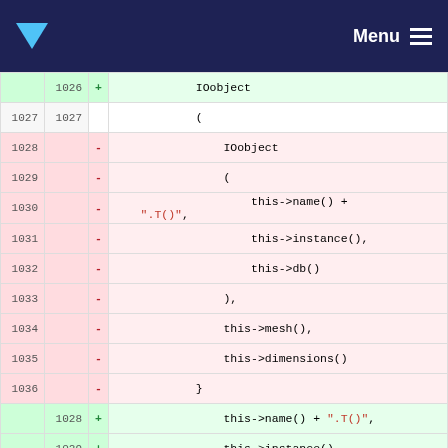Menu
[Figure (screenshot): Code diff view showing changes to C++ IOobject constructor call, lines 1026-1038 old and 1026-1035 new.]